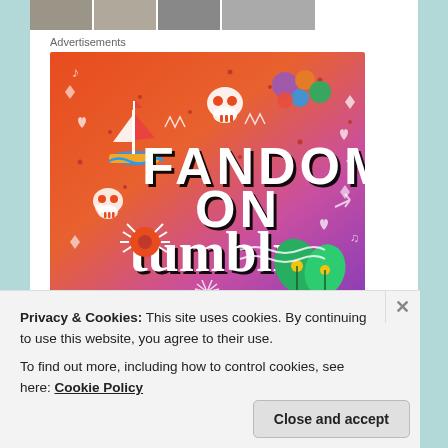[Figure (photo): Row of four small thumbnail images at the top of the page, partially visible]
Advertisements
[Figure (illustration): Colorful advertisement image with gradient background (orange to purple) featuring doodle-style illustrations and text 'FANDOM ON tumblr']
Privacy & Cookies: This site uses cookies. By continuing to use this website, you agree to their use.
To find out more, including how to control cookies, see here: Cookie Policy
Close and accept